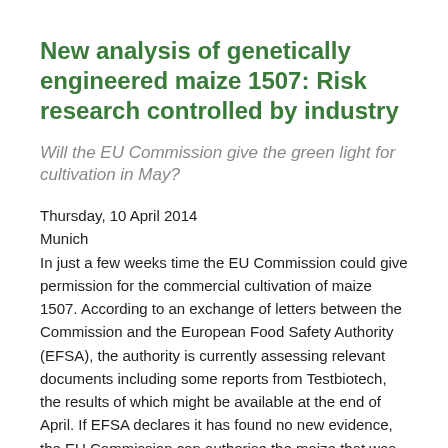New analysis of genetically engineered maize 1507: Risk research controlled by industry
Will the EU Commission give the green light for cultivation in May?
Thursday, 10 April 2014
Munich
In just a few weeks time the EU Commission could give permission for the commercial cultivation of maize 1507. According to an exchange of letters between the Commission and the European Food Safety Authority (EFSA), the authority is currently assessing relevant documents including some reports from Testbiotech, the results of which might be available at the end of April. If EFSA declares it has found no new evidence, the EU Commission can authorise the maize that was jointly developed by Dow AgroSciences and Pioneer